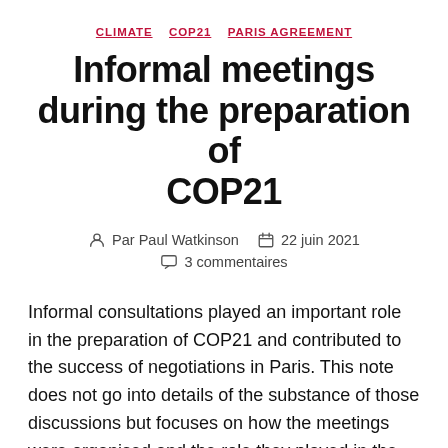CLIMATE  COP21  PARIS AGREEMENT
Informal meetings during the preparation of COP21
Par Paul Watkinson   22 juin 2021
3 commentaires
Informal consultations played an important role in the preparation of COP21 and contributed to the success of negotiations in Paris. This note does not go into details of the substance of those discussions but focuses on how the meetings were organised and the role they played in the process by…